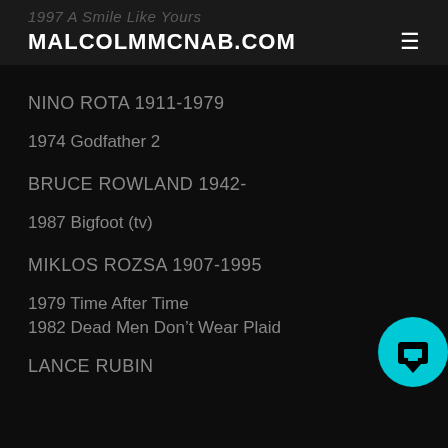1997 A Smile Like Yours
MALCOLMMCNAB.COM
NINO ROTA 1911-1979
1974 Godfather 2
BRUCE ROWLAND 1942-
1987 Bigfoot (tv)
MIKLOS ROZSA 1907-1995
1979 Time After Time
1982 Dead Men Don't Wear Plaid
LANCE RUBIN